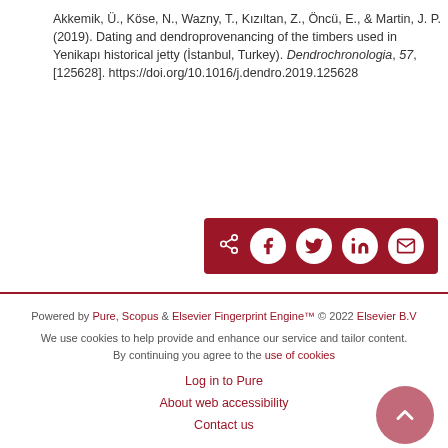Akkemik, Ü., Köse, N., Wazny, T., Kızıltan, Z., Öncü, E., & Martin, J. P. (2019). Dating and dendroprovenancing of the timbers used in Yenikapı historical jetty (İstanbul, Turkey). Dendrochronologia, 57, [125628]. https://doi.org/10.1016/j.dendro.2019.125628
[Figure (other): Social share bar with dark red background containing share/Facebook/Twitter/LinkedIn/email icon buttons]
Powered by Pure, Scopus & Elsevier Fingerprint Engine™ © 2022 Elsevier B.V
We use cookies to help provide and enhance our service and tailor content. By continuing you agree to the use of cookies
Log in to Pure
About web accessibility
Contact us